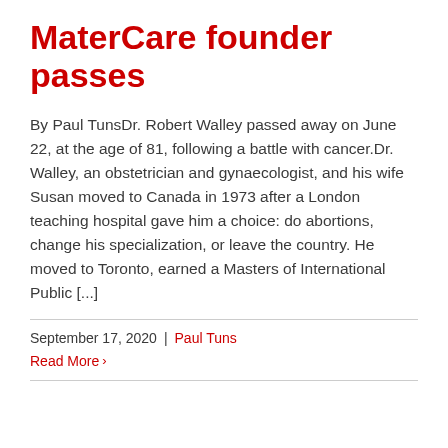MaterCare founder passes
By Paul TunsDr. Robert Walley passed away on June 22, at the age of 81, following a battle with cancer.Dr. Walley, an obstetrician and gynaecologist, and his wife Susan moved to Canada in 1973 after a London teaching hospital gave him a choice: do abortions, change his specialization, or leave the country. He moved to Toronto, earned a Masters of International Public [...]
September 17, 2020 | Paul Tuns
Read More >